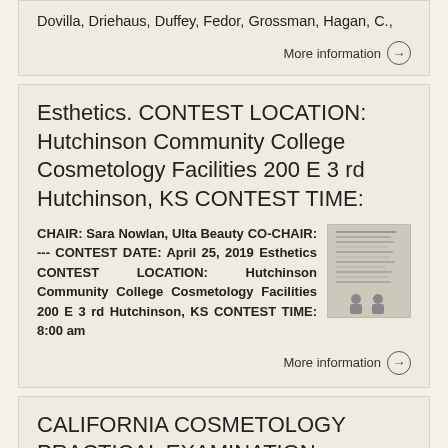Dovilla, Driehaus, Duffey, Fedor, Grossman, Hagan, C.,
More information →
Esthetics. CONTEST LOCATION: Hutchinson Community College Cosmetology Facilities 200 E 3 rd Hutchinson, KS CONTEST TIME:
CHAIR: Sara Nowlan, Ulta Beauty CO-CHAIR: --- CONTEST DATE: April 25, 2019 Esthetics CONTEST LOCATION: Hutchinson Community College Cosmetology Facilities 200 E 3 rd Hutchinson, KS CONTEST TIME: 8:00 am
[Figure (screenshot): Thumbnail of a document page with text lines and two small figures at bottom]
More information →
CALIFORNIA COSMETOLOGY PRACTICAL EXAMINATION CANDIDATE INFORMATION BULLETIN
CALIFORNIA COSMETOLOGY PRACTICAL